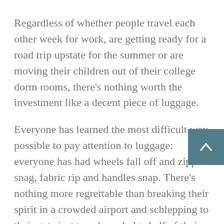Regardless of whether people travel each other week for work, are getting ready for a road trip upstate for the summer or are moving their children out of their college dorm rooms, there’s nothing worth the investment like a decent piece of luggage.
Everyone has learned the most difficult way possible to pay attention to luggage: everyone has had wheels fall off and zippers snag, fabric rip and handles snap. There’s nothing more regrettable than breaking their spirit in a crowded airport and schlepping to their gate just to acknowledge half of their clothes have fallen out en route, similar to a scene out of “Hansel and Gretel.”
In preparation for summer travel, everyone has looked all over for a long-lasting and sturdy luggage set – and